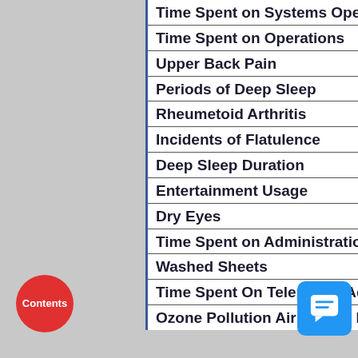| Metric | Change |
| --- | --- |
| Time Spent on Systems Operations | ↑230% Higher |
| Time Spent on Operations | ↑220% Higher |
| Upper Back Pain | ↓42% Lower |
| Periods of Deep Sleep | ↑210% Higher |
| Rheumetoid Arthritis | ↓27% Lower |
| Incidents of Flatulence | ↑580% Higher |
| Deep Sleep Duration | ↑150% Higher |
| Entertainment Usage | ↑130% Higher |
| Dry Eyes | ↑1100% Higher |
| Time Spent on Administration | ↑150% Higher |
| Washed Sheets | ↓84% Lower |
| Time Spent On Telephony Activities | ↑88% Higher |
| Ozone Pollution Air Quality Index | ↑69% Higher |